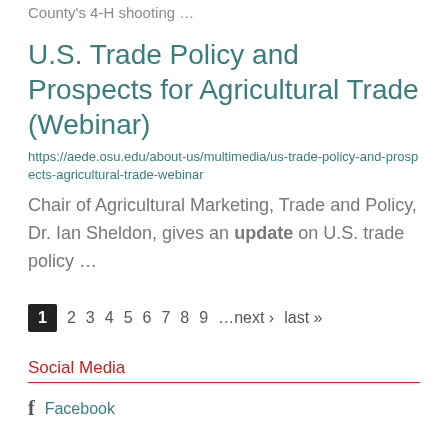County's 4-H shooting …
U.S. Trade Policy and Prospects for Agricultural Trade (Webinar)
https://aede.osu.edu/about-us/multimedia/us-trade-policy-and-prospects-agricultural-trade-webinar
Chair of Agricultural Marketing, Trade and Policy, Dr. Ian Sheldon, gives an update on U.S. trade policy …
1 2 3 4 5 6 7 8 9 …next › last »
Social Media
Facebook